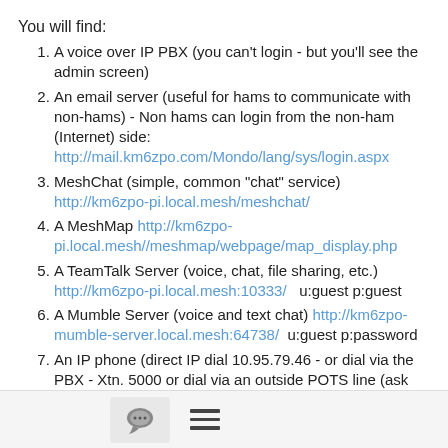You will find:
A voice over IP PBX (you can't login - but you'll see the admin screen)
An email server (useful for hams to communicate with non-hams) - Non hams can login from the non-ham (Internet) side: http://mail.km6zpo.com/Mondo/lang/sys/login.aspx
MeshChat (simple, common "chat" service) http://km6zpo-pi.local.mesh/meshchat/
A MeshMap http://km6zpo-pi.local.mesh//meshmap/webpage/map_display.php
A TeamTalk Server (voice, chat, file sharing, etc.) http://km6zpo-pi.local.mesh:10333/  u:guest p:guest
A Mumble Server (voice and text chat) http://km6zpo-mumble-server.local.mesh:64738/  u:guest p:password
An IP phone (direct IP dial 10.95.79.46 - or dial via the PBX - Xtn. 5000 or dial via an outside POTS line (ask me for the number) or Ham Shack Hotline 50160
A simple website: http://km6zpo-